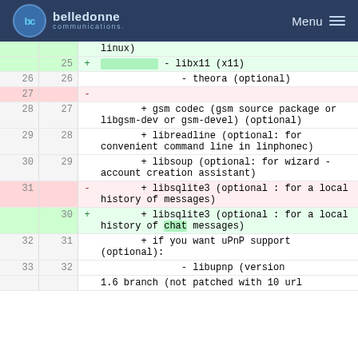belledonne communications Menu
Diff view of code/file showing line changes for linphone build dependencies
| old line | new line | marker | content |
| --- | --- | --- | --- |
|  |  |  | linux) |
|  | 25 | + | [highlight] - libx11 (x11) |
| 26 | 26 |  | - theora (optional) |
| 27 |  | - |  |
| 28 | 27 |  | + gsm codec (gsm source package or libgsm-dev or gsm-devel) (optional) |
| 29 | 28 |  | + libreadline (optional: for convenient command line in linphonec) |
| 30 | 29 |  | + libsoup (optional: for wizard - account creation assistant) |
| 31 |  | - | + libsqlite3 (optional : for a local history of messages) |
|  | 30 | + | + libsqlite3 (optional : for a local history of [highlight]chat[/highlight] messages) |
| 32 | 31 |  | + if you want uPnP support (optional): |
| 33 | 32 |  | - libupnp (version |
|  |  |  | 1.6 branch (not patched with 10 url |